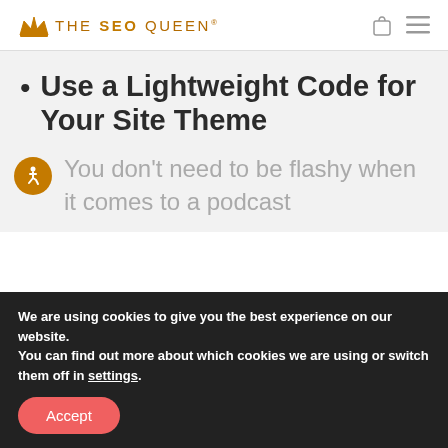The SEO Queen®
Use a Lightweight Code for Your Site Theme
You don't need to be flashy when it comes to a podcast
We are using cookies to give you the best experience on our website.
You can find out more about which cookies we are using or switch them off in settings.
Accept